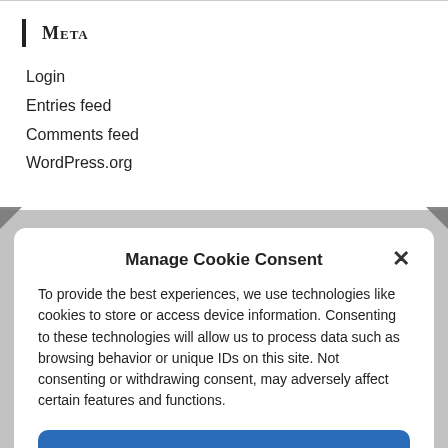Meta
Login
Entries feed
Comments feed
WordPress.org
Manage Cookie Consent
To provide the best experiences, we use technologies like cookies to store or access device information. Consenting to these technologies will allow us to process data such as browsing behavior or unique IDs on this site. Not consenting or withdrawing consent, may adversely affect certain features and functions.
Accept